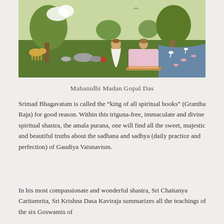[Figure (illustration): Indian miniature painting depicting two figures seated outdoors in a lush green landscape with trees, rocks, a deer, birds, and a river with lotus flowers. One figure is bare-chested and kneeling, the other is seated on a decorated cloth/mat wearing pink garments.]
Mahanidhi Madan Gopal Das
Srimad Bhagavatam is called the “king of all spiritual books” (Grantha Raja) for good reason. Within this triguna-free, immaculate and divine spiritual shastra, the amala purana, one will find all the sweet, majestic and beautiful truths about the sadhana and sadhya (daily practice and perfection) of Gaudiya Vaisnavism.
In his most compassionate and wonderful shastra, Sri Chaitanya Caritamrita, Sri Krishna Dasa Kaviraja summarizes all the teachings of the six Goswamis of